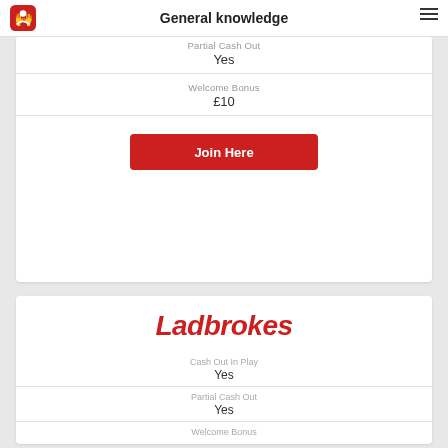General knowledge
| Partial Cash Out | Yes |
| Welcome Bonus | £10 |
Join Here
[Figure (logo): Ladbrokes logo in red italic text]
| Cash Out In Play | Yes |
| Partial Cash Out | Yes |
| Welcome Bonus | £30 |